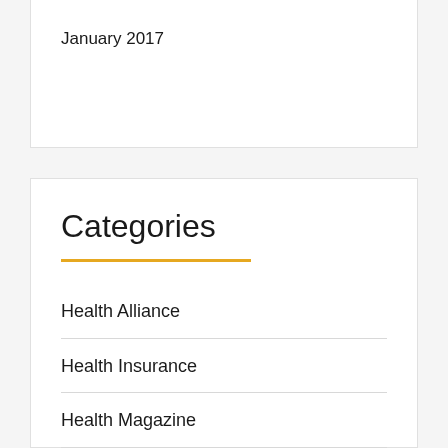January 2017
Categories
Health Alliance
Health Insurance
Health Magazine
Health Marketplace
Health News